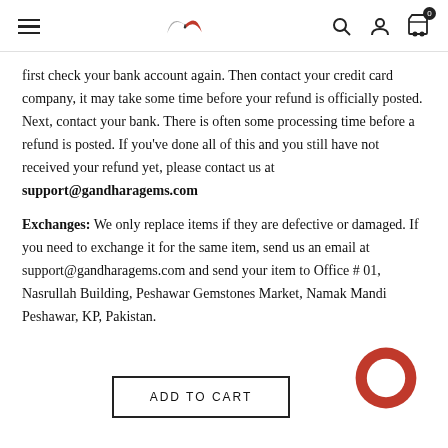Gandhara Gems website header with hamburger menu, logo, search, account, and cart icons
first check your bank account again. Then contact your credit card company, it may take some time before your refund is officially posted. Next, contact your bank. There is often some processing time before a refund is posted. If you've done all of this and you still have not received your refund yet, please contact us at support@gandharagems.com
Exchanges: We only replace items if they are defective or damaged. If you need to exchange it for the same item, send us an email at support@gandharagems.com and send your item to Office # 01, Nasrullah Building, Peshawar Gemstones Market, Namak Mandi Peshawar, KP, Pakistan.